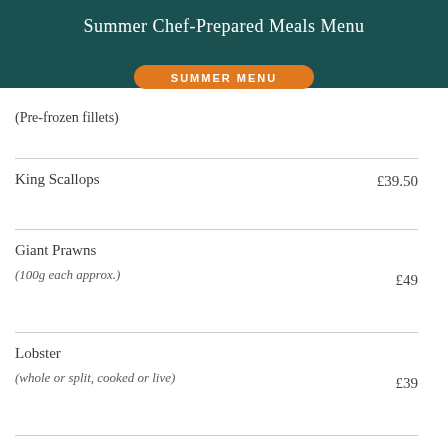Summer Chef-Prepared Meals Menu
(Pre-frozen fillets)
| Item | Price |
| --- | --- |
| King Scallops | £39.50 |
| Giant Prawns
(100g each approx.) | £49 |
| Lobster
(whole or split, cooked or live) | £39 |
| Medium Prawns
(30g each approx.) | £27.50 |